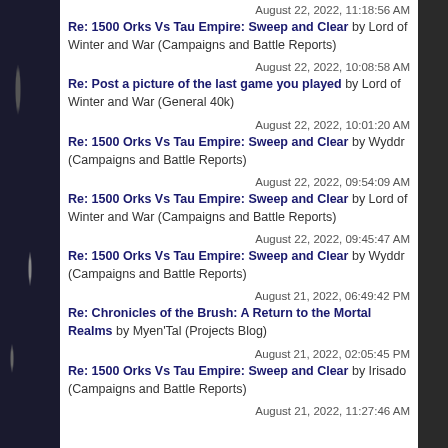August 22, 2022, 11:18:56 AM
Re: 1500 Orks Vs Tau Empire: Sweep and Clear by Lord of Winter and War (Campaigns and Battle Reports)
August 22, 2022, 10:08:58 AM
Re: Post a picture of the last game you played by Lord of Winter and War (General 40k)
August 22, 2022, 10:01:20 AM
Re: 1500 Orks Vs Tau Empire: Sweep and Clear by Wyddr (Campaigns and Battle Reports)
August 22, 2022, 09:54:09 AM
Re: 1500 Orks Vs Tau Empire: Sweep and Clear by Lord of Winter and War (Campaigns and Battle Reports)
August 22, 2022, 09:45:47 AM
Re: 1500 Orks Vs Tau Empire: Sweep and Clear by Wyddr (Campaigns and Battle Reports)
August 21, 2022, 06:49:42 PM
Re: Chronicles of the Brush: A Return to the Mortal Realms by Myen'Tal (Projects Blog)
August 21, 2022, 02:05:45 PM
Re: 1500 Orks Vs Tau Empire: Sweep and Clear by Irisado (Campaigns and Battle Reports)
August 21, 2022, 11:27:46 AM